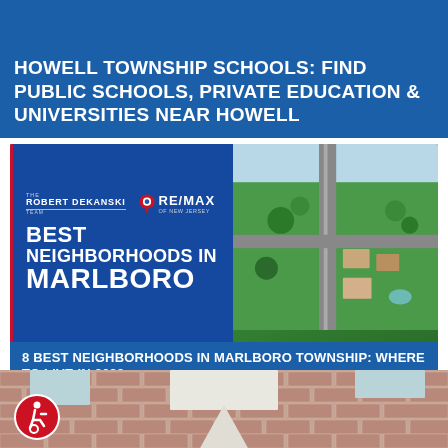HOWELL TOWNSHIP SCHOOLS: FIND PUBLIC SCHOOLS, PRIVATE EDUCATION & UNIVERSITIES NEAR HOWELL
[Figure (infographic): Robert Dekanski RE/MAX branded card showing 'Best Neighborhoods in Marlboro' with aerial photo of suburban neighborhood]
8 BEST NEIGHBORHOODS IN MARLBORO TOWNSHIP: WHERE TO LIVE IN 2022
[Figure (photo): Bottom section showing brick building exterior with wheelchair accessibility icon]